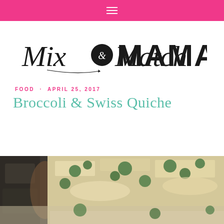≡
[Figure (logo): Mix & Match MAMA logo in black script and bold sans-serif lettering]
FOOD · APRIL 25, 2017
Broccoli & Swiss Quiche
[Figure (photo): Photo of a broccoli and swiss quiche, showing melted cheese and broccoli in a pie crust]